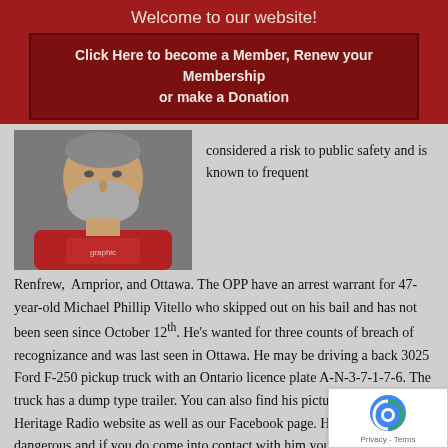Welcome to our website!
Click Here to become a Member, Renew your Membership or make a Donation
[Figure (photo): Mugshot-style photo of a middle-aged man with grey beard wearing a red t-shirt]
considered a risk to public safety and is known to frequent
Renfrew, Arnprior, and Ottawa. The OPP have an arrest warrant for 47-year-old Michael Phillip Vitello who skipped out on his bail and has not been seen since October 12th. He's wanted for three counts of breach of recognizance and was last seen in Ottawa. He may be driving a back 3025 Ford F-250 pickup truck with an Ontario licence plate A-N-3-7-1-7-6. The truck has a dump type trailer. You can also find his picture on the Valley Heritage Radio website as well as our Facebook page. He is considered dangerous and if you do come into contact with him you should